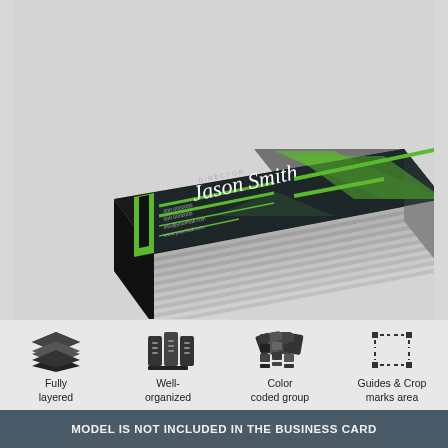[Figure (photo): A stack of dark business cards with green geometric accents and script text reading 'Jason Smith, Director', shown in 3D perspective view on a light gray background]
[Figure (infographic): Four feature icons in a row: layers icon labeled 'Fully layered', binders icon labeled 'Well-organized', color swatches icon labeled 'Color coded group', dashed rectangle icon labeled 'Guides & Crop marks area']
MODEL IS NOT INCLUDED IN THE BUSINESS CARD